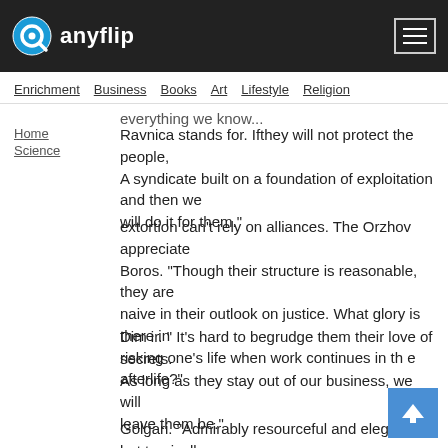anyflip
Enrichment  Business  Books  Art  Lifestyle  Religion
everything we know...
Ravnica stands for. Ifthey will not protect the people, A syndicate built on a foundation of exploitation and then we will do it for them."
extortion can't rely on alliances. The Orzhov appreciate Boros. "Though their structure is reasonable, they are naive in their outlook on justice. What glory is there in risking one's life when work continues in th e afterlife?"
Dim ir. " It's hard to begrudge them their love of secrets. As long as they stay out of our business, we will leave them be."
Golgari. "Admirably resourceful and elegant, but tragically unhygienic. The swarm ers may persist, as long as they don't try to force their aesthetic sensibilities on us."